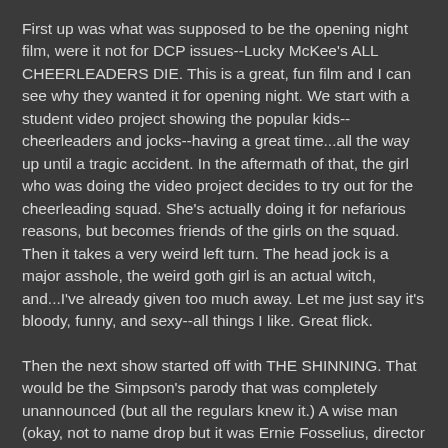First up was what was supposed to be the opening night film, were it not for DCP issues--Lucky McKee's ALL CHEERLEADERS DIE. This is a great, fun film and I can see why they wanted it for opening night. We start with a student video project showing the popular kids--cheerleaders and jocks--having a great time...all the way up until a tragic accident. In the aftermath of that, the girl who was doing the video project decides to try out for the cheerleading squad. She's actually doing it for nefarious reasons, but becomes friends of the girls on the squad. Then it takes a very weird left turn. The head jock is a major asshole, the weird goth girl is an actual witch, and...I've already given too much away. Let me just say it's bloody, funny, and sexy--all things I like. Great flick.
Then the next show started off with THE SHINNING. That would be the Simpson's parody that was completely unannounced (but all the regulars knew it.) A wise man (okay, not to name drop but it was Ernie Fosselius, director of HARDWARE WARS) once told me that you should always watch the parodies before seeing the real thing. So this was